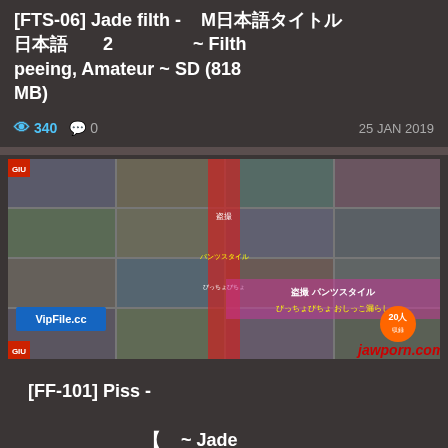[FTS-06] Jade filth - M 2 ~ Filth peeing, Amateur ~ SD (818 MB)
340 views · 0 comments · 25 JAN 2019
[Figure (photo): DVD cover thumbnail collage with VipFile.cc watermark and jawporn.com branding]
[FF-101] Piss - 「 ~ Jade filth, DLFF-101 ~ HD (1.38 GB)